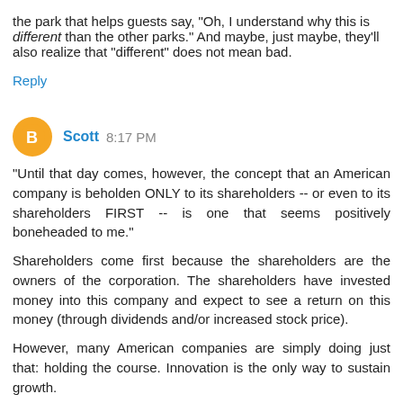the park that helps guests say, "Oh, I understand why this is different than the other parks." And maybe, just maybe, they'll also realize that "different" does not mean bad.
Reply
Scott  8:17 PM
"Until that day comes, however, the concept that an American company is beholden ONLY to its shareholders -- or even to its shareholders FIRST -- is one that seems positively boneheaded to me."
Shareholders come first because the shareholders are the owners of the corporation. The shareholders have invested money into this company and expect to see a return on this money (through dividends and/or increased stock price).
However, many American companies are simply doing just that: holding the course. Innovation is the only way to sustain growth.
Reply